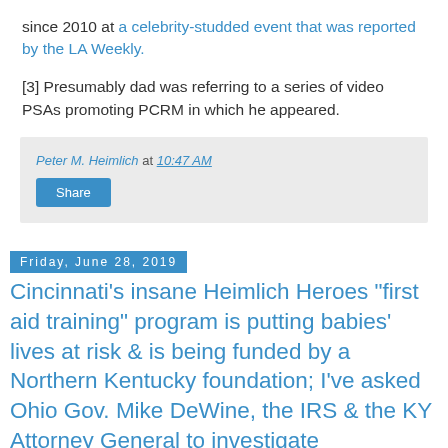since 2010 at a celebrity-studded event that was reported by the LA Weekly.
[3] Presumably dad was referring to a series of video PSAs promoting PCRM in which he appeared.
Peter M. Heimlich at 10:47 AM
Share
Friday, June 28, 2019
Cincinnati's insane Heimlich Heroes "first aid training" program is putting babies' lives at risk & is being funded by a Northern Kentucky foundation; I've asked Ohio Gov. Mike DeWine, the IRS & the KY Attorney General to investigate